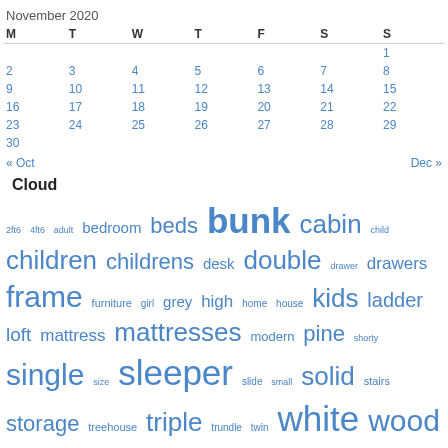November 2020
| M | T | W | T | F | S | S |
| --- | --- | --- | --- | --- | --- | --- |
|  |  |  |  |  |  | 1 |
| 2 | 3 | 4 | 5 | 6 | 7 | 8 |
| 9 | 10 | 11 | 12 | 13 | 14 | 15 |
| 16 | 17 | 18 | 19 | 20 | 21 | 22 |
| 23 | 24 | 25 | 26 | 27 | 28 | 29 |
| 30 |  |  |  |  |  |  |
« Oct    Dec »
Cloud
2ft6 4ft6 adult bedroom beds bunk cabin child children childrens desk double drawer drawers frame furniture girl grey high home house kids ladder loft mattress mattresses modern pine shorty single size sleeper slide small solid stairs storage treehouse triple trundle twin white wood